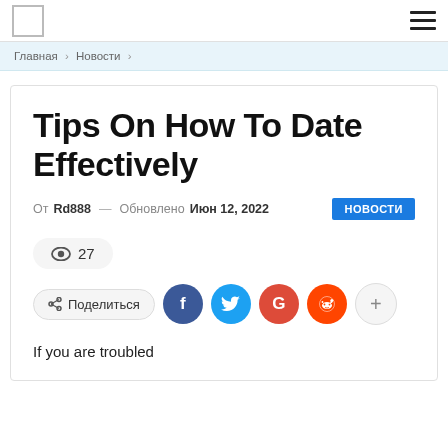Главная > Новости >
Tips On How To Date Effectively
От Rd888 — Обновлено Июн 12, 2022  НОВОСТИ
👁 27
Поделиться  f  t  G  r  +
If you are troubled